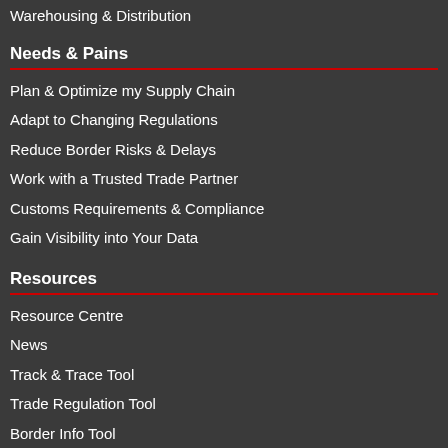Warehousing & Distribution
Needs & Pains
Plan & Optimize my Supply Chain
Adapt to Changing Regulations
Reduce Border Risks & Delays
Work with a Trusted Trade Partner
Customs Requirements & Compliance
Gain Visibility into Your Data
Resources
Resource Centre
News
Track & Trace Tool
Trade Regulation Tool
Border Info Tool
Harmonized System Tariff & HS
Classification
Glossary